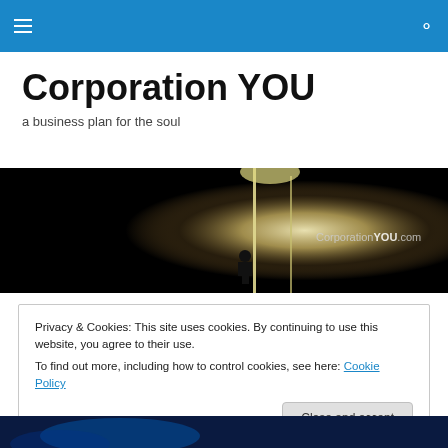Corporation YOU — navigation bar with hamburger menu and search icon
Corporation YOU
a business plan for the soul
[Figure (photo): Dark banner image of a silhouetted figure standing before a glowing door/light in a dark room. Text reads 'CorporationYOU.com' in bottom right corner.]
Privacy & Cookies: This site uses cookies. By continuing to use this website, you agree to their use.
To find out more, including how to control cookies, see here: Cookie Policy
Close and accept
[Figure (photo): Partial view of a blue-toned image visible at the bottom of the page.]